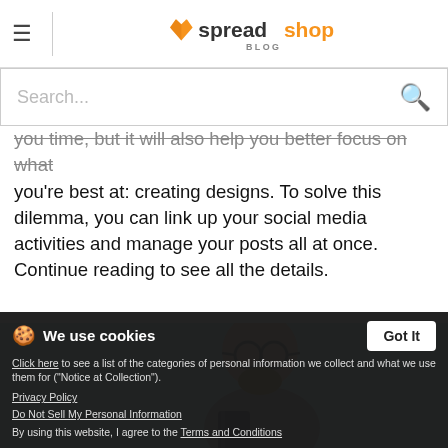≡ spreadshop BLOG
Search...
you time, but it will also help you better focus on what you're best at: creating designs. To solve this dilemma, you can link up your social media activities and manage your posts all at once. Continue reading to see all the details.
[Figure (photo): Man with round glasses and beard on light blue background holding a book]
We use cookies
Click here to see a list of the categories of personal information we collect and what we use them for ("Notice at Collection").
Privacy Policy
Do Not Sell My Personal Information
By using this website, I agree to the Terms and Conditions